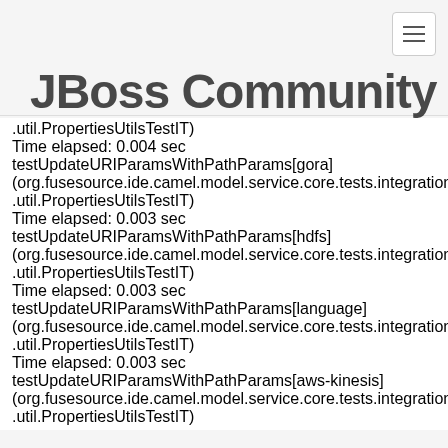[Figure (logo): JBoss Community logo with navigation toggle button]
.util.PropertiesUtilsTestIT)
Time elapsed: 0.004 sec
testUpdateURIParamsWithPathParams[gora]
(org.fusesource.ide.camel.model.service.core.tests.integration.core
.util.PropertiesUtilsTestIT)
Time elapsed: 0.003 sec
testUpdateURIParamsWithPathParams[hdfs]
(org.fusesource.ide.camel.model.service.core.tests.integration.core
.util.PropertiesUtilsTestIT)
Time elapsed: 0.003 sec
testUpdateURIParamsWithPathParams[language]
(org.fusesource.ide.camel.model.service.core.tests.integration.core
.util.PropertiesUtilsTestIT)
Time elapsed: 0.003 sec
testUpdateURIParamsWithPathParams[aws-kinesis]
(org.fusesource.ide.camel.model.service.core.tests.integration.core
.util.PropertiesUtilsTestIT)